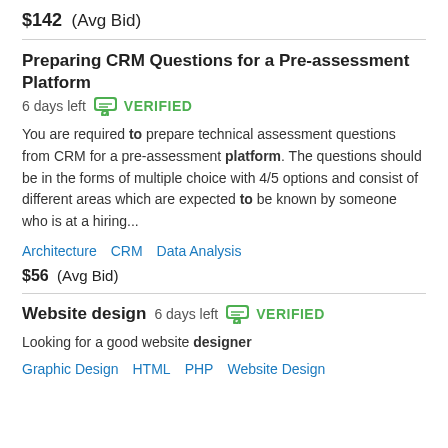$142  (Avg Bid)
Preparing CRM Questions for a Pre-assessment Platform  6 days left  VERIFIED
You are required to prepare technical assessment questions from CRM for a pre-assessment platform. The questions should be in the forms of multiple choice with 4/5 options and consist of different areas which are expected to be known by someone who is at a hiring...
Architecture   CRM   Data Analysis
$56  (Avg Bid)
Website design  6 days left  VERIFIED
Looking for a good website designer
Graphic Design   HTML   PHP   Website Design